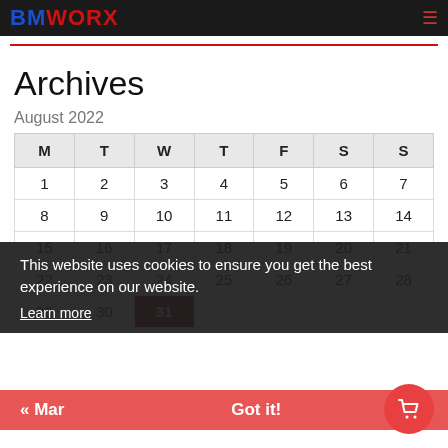BMWORX
Archives
August 2022
| M | T | W | T | F | S | S |
| --- | --- | --- | --- | --- | --- | --- |
| 1 | 2 | 3 | 4 | 5 | 6 | 7 |
| 8 | 9 | 10 | 11 | 12 | 13 | 14 |
| 15 | 16 | 17 | 18 | 19 | 20 | 21 |
| 22 | 23 | 24 | 25 | 26 | 27 | 28 |
| 29 | 30 | 31 |  |  |  |  |
This website uses cookies to ensure you get the best experience on our website.
Learn more
« Mar
Got it!